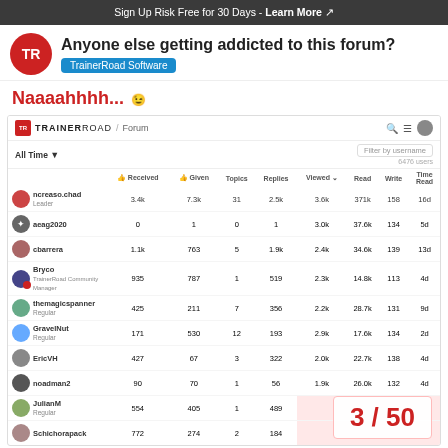Sign Up Risk Free for 30 Days - Learn More
Anyone else getting addicted to this forum?
TrainerRoad Software
Naaaahhhh... :wink:
[Figure (screenshot): TrainerRoad forum leaderboard screenshot showing user stats including Received likes, Given likes, Topics, Replies, Viewed, Read, Write, and Time Read columns. Users listed: ncreaso.chad (Leader) 3.4k, 7.3k, 31, 2.5k, 3.6k, 371k, 158, 16d; aeag2020 0, 1, 0, 1, 3.0k, 37.6k, 134, 5d; cbarrera 1.1k, 763, 5, 1.9k, 2.4k, 34.6k, 139, 13d; Bryco (TrainerRoad Community Manager) 935, 787, 1, 519, 2.3k, 14.8k, 113, 4d; themagicspanner (Regular) 425, 211, 7, 356, 2.2k, 28.7k, 131, 9d; GravelNut (Regular) 171, 530, 12, 193, 2.9k, 17.6k, 134, 2d; EricVH 427, 67, 3, 322, 2.0k, 22.7k, 138, 4d; noadman2 90, 70, 1, 56, 1.9k, 26.0k, 132, 4d; JulianM (Regular) 554, 405, 1, 489; Schichorapack 772, 274, 2, 184]
3 / 50